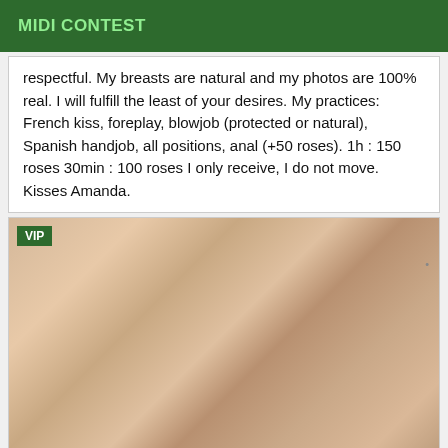MIDI CONTEST
respectful. My breasts are natural and my photos are 100% real. I will fulfill the least of your desires. My practices: French kiss, foreplay, blowjob (protected or natural), Spanish handjob, all positions, anal (+50 roses). 1h : 150 roses 30min : 100 roses I only receive, I do not move. Kisses Amanda.
[Figure (photo): Close-up photo of a blonde woman wearing a dark blue/black bra, with a VIP badge in the top-left corner]